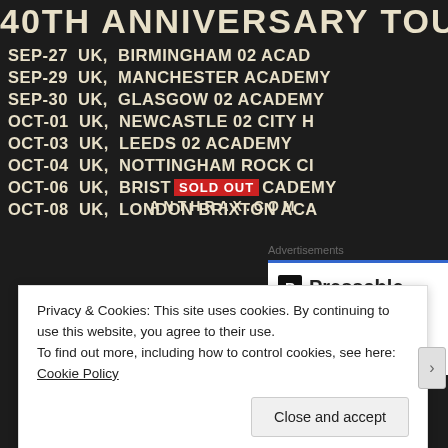40TH ANNIVERSARY TOU
SEP-27  UK,  BIRMINGHAM 02 ACAD
SEP-29  UK,  MANCHESTER ACADEMY
SEP-30  UK,  GLASGOW 02 ACADEMY
OCT-01  UK,  NEWCASTLE 02 CITY H
OCT-03  UK,  LEEDS 02 ACADEMY
OCT-04  UK,  NOTTINGHAM ROCK CI
OCT-06  UK,  BRIST [SOLD OUT] CADEMY
OCT-08  UK,  LONDON BRIXTON ACA
ANTHRAX.COM
Advertisements
[Figure (logo): Pressable logo with P icon and dotted decoration]
Privacy & Cookies: This site uses cookies. By continuing to use this website, you agree to their use.
To find out more, including how to control cookies, see here: Cookie Policy
Close and accept